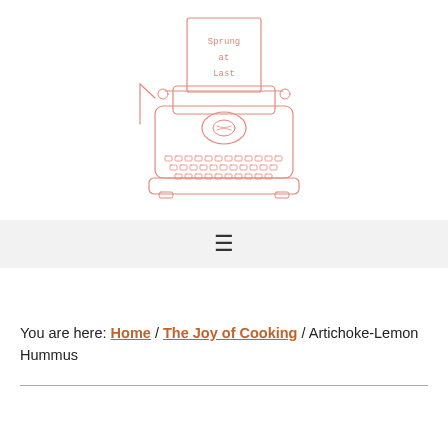[Figure (illustration): A line-drawing illustration of a vintage typewriter in salmon/pink color. A sheet of paper is inserted in the typewriter with the text 'Sprung at Last' typed on it. The typewriter has detailed keys and a carriage visible.]
≡
You are here: Home / The Joy of Cooking / Artichoke-Lemon Hummus